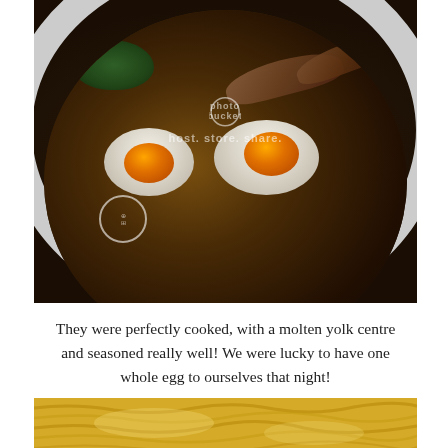[Figure (photo): Close-up photo of a bowl of ramen with dark broth, halved soft-boiled eggs showing orange-yellow molten yolks, mushroom slices, and green leafy toppings. Bowl has decorative rim pattern. Photobucket watermark visible.]
They were perfectly cooked, with a molten yolk centre and seasoned really well! We were lucky to have one whole egg to ourselves that night!
[Figure (photo): Close-up photo of yellow ramen noodles, partially cropped at bottom of page.]